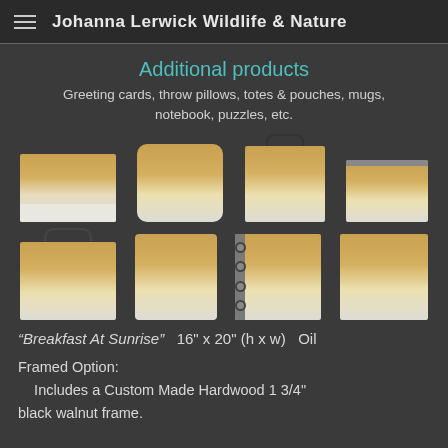Johanna Lerwick Wildlife & Nature
Additional products
Greeting cards, throw pillows, totes & pouches, mugs, notebook, puzzles, etc.
[Figure (photo): Eight product images showing a bear painting on greeting card, pillow, tote bags, pouch, mug, notebook, and puzzle/print]
"Breakfast At Sunrise"   16" x 20" (h x w)   Oil
Framed Option:
    Includes a Custom Made Hardwood 1 3/4" black walnut frame.